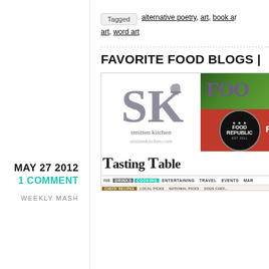Tagged  alternative poetry, art, book art, word art
FAVORITE FOOD BLOGS |
MAY 27 2012
1 COMMENT
WEEKLY MASH
[Figure (screenshot): Composite screenshot showing food blog logos: Smitten Kitchen (smittenkitchen.com), Food Republic badge, Tasting Table logo with navigation bar (DRINKS, COOKING, ENTERTAINING, TRAVEL, EVENTS, MAR...) and a sub-navigation bar (CHEFS RECIPES, LOCAL PICKS, NATIONAL PICKS, SOUS CHEF...) and a Tasting Table Chefs Recipes promotional block.]